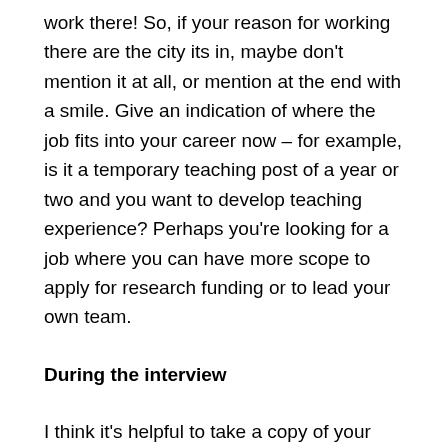work there! So, if your reason for working there are the city its in, maybe don't mention it at all, or mention at the end with a smile. Give an indication of where the job fits into your career now – for example, is it a temporary teaching post of a year or two and you want to develop teaching experience? Perhaps you're looking for a job where you can have more scope to apply for research funding or to lead your own team.
During the interview
I think it's helpful to take a copy of your application with you, but I rarely see applicants do this. It's